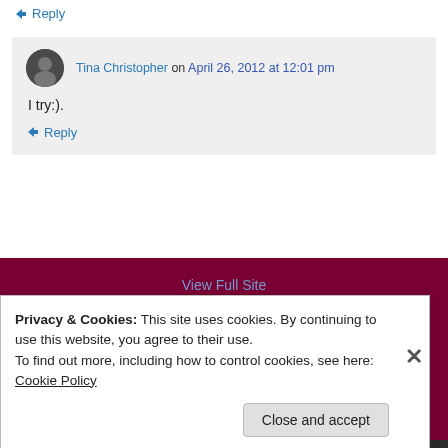↪ Reply
Tina Christopher on April 26, 2012 at 12:01 pm
I try:).
↪ Reply
View Full Site
Privacy & Cookies: This site uses cookies. By continuing to use this website, you agree to their use.
To find out more, including how to control cookies, see here: Cookie Policy
Close and accept